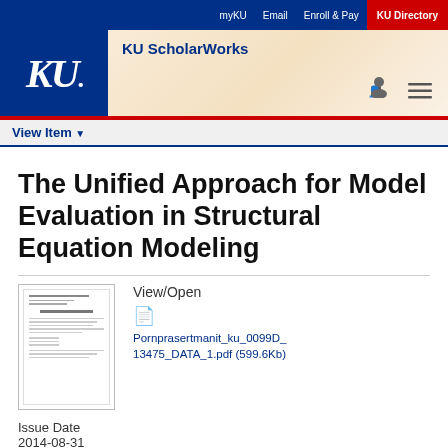myKU   Email   Enroll & Pay   KU Directory
KU ScholarWorks
View Item
The Unified Approach for Model Evaluation in Structural Equation Modeling
[Figure (screenshot): Thumbnail preview of the PDF document]
View/Open
Pornprasertmanit_ku_0099D_13475_DATA_1.pdf (599.6Kb)
Issue Date
2014-08-31